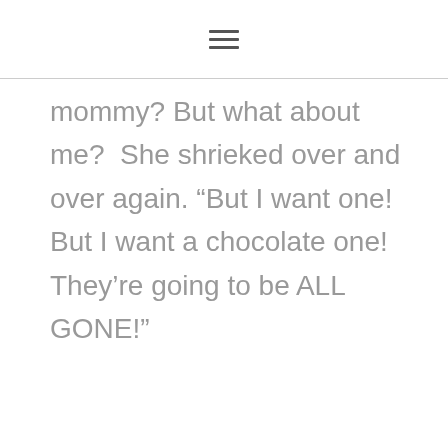[hamburger menu icon]
mommy? But what about me?  She shrieked over and over again. “But I want one! But I want a chocolate one! They’re going to be ALL GONE!”